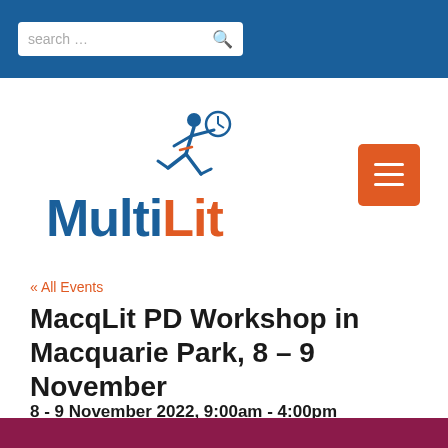search …
[Figure (logo): MultiLit logo with runner figure and clock icon above the text MultiLit in blue and orange]
« All Events
MacqLit PD Workshop in Macquarie Park, 8 – 9 November
8 - 9 November 2022, 9:00am - 4:00pm